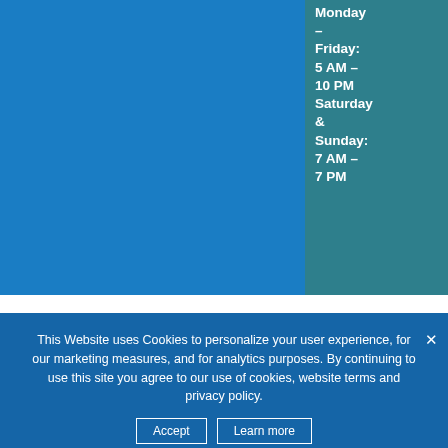[Figure (photo): Blue background image area on the left side of the page]
Hours: Monday – Friday: 5 AM – 10 PM Saturday & Sunday: 7 AM – 7 PM
This Website uses Cookies to personalize your user experience, for our marketing measures, and for analytics purposes. By continuing to use this site you agree to our use of cookies, website terms and privacy policy.